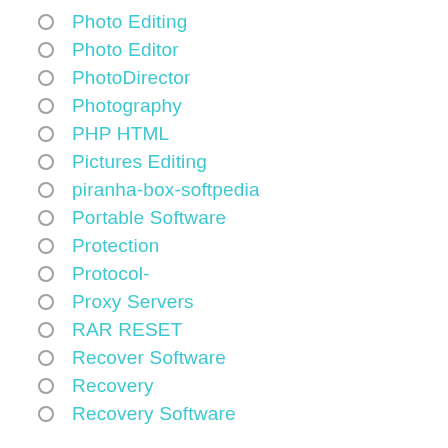Photo Editing
Photo Editor
PhotoDirector
Photography
PHP HTML
Pictures Editing
piranha-box-softpedia
Portable Software
Protection
Protocol-
Proxy Servers
RAR RESET
Recover Software
Recovery
Recovery Software